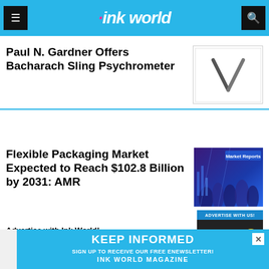ink world
Paul N. Gardner Offers Bacharach Sling Psychrometer
[Figure (photo): Image of a Bacharach Sling Psychrometer instrument — two metallic rods in a V shape on white background]
Flexible Packaging Market Expected to Reach $102.8 Billion by 2031: AMR
[Figure (photo): Market Reports image showing a crowd scene with blue purple lighting and text 'Market Reports']
Advertise with Ink World!
Download our Media Kits
[Figure (photo): Advertisement image: 'ADVERTISE WITH US!' with three question mark lightbulbs and one lit yellow lightbulb on dark background]
KEEP INFORMED
SIGN UP TO RECEIVE OUR FREE ENEWSLETTER!
INK WORLD MAGAZINE